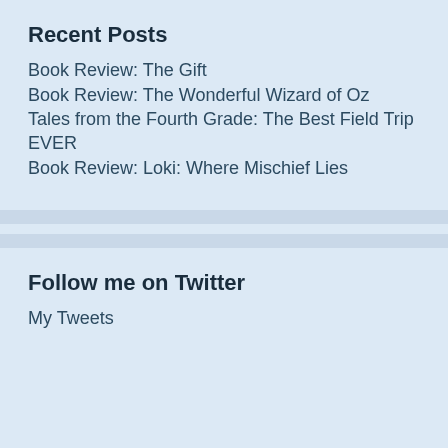Recent Posts
Book Review: The Gift
Book Review: The Wonderful Wizard of Oz
Tales from the Fourth Grade: The Best Field Trip EVER
Book Review: Loki: Where Mischief Lies
Follow me on Twitter
My Tweets